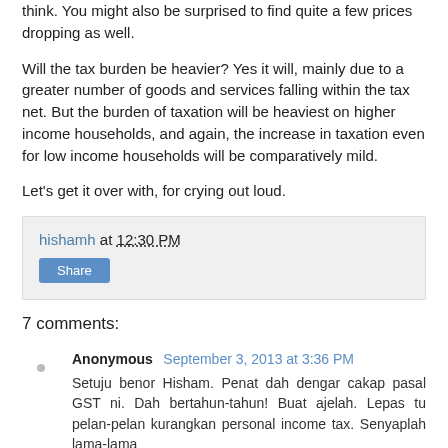think. You might also be surprised to find quite a few prices dropping as well.
Will the tax burden be heavier? Yes it will, mainly due to a greater number of goods and services falling within the tax net. But the burden of taxation will be heaviest on higher income households, and again, the increase in taxation even for low income households will be comparatively mild.
Let's get it over with, for crying out loud.
hishamh at 12:30 PM
Share
7 comments:
Anonymous September 3, 2013 at 3:36 PM
Setuju benor Hisham. Penat dah dengar cakap pasal GST ni. Dah bertahun-tahun! Buat ajelah. Lepas tu pelan-pelan kurangkan personal income tax. Senyaplah lama-lama